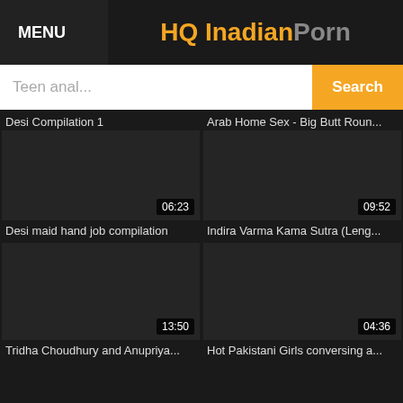MENU | HQ InadianPorn
Teen anal... Search
Desi Compilation 1
Arab Home Sex - Big Butt Roun...
[Figure (screenshot): Dark video thumbnail with duration 06:23]
[Figure (screenshot): Dark video thumbnail with duration 09:52]
Desi maid hand job compilation
Indira Varma Kama Sutra (Leng...
[Figure (screenshot): Dark video thumbnail with duration 13:50]
[Figure (screenshot): Dark video thumbnail with duration 04:36]
Tridha Choudhury and Anupriya...
Hot Pakistani Girls conversing a...